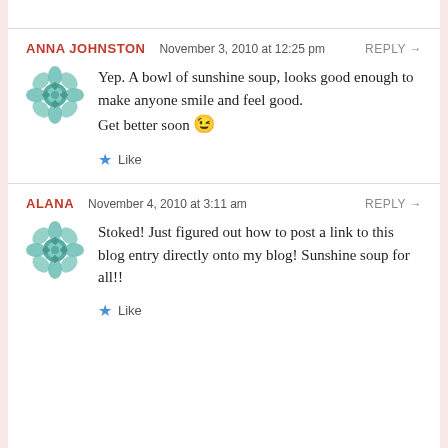ANNA JOHNSTON   November 3, 2010 at 12:25 pm   REPLY →
Yep. A bowl of sunshine soup, looks good enough to make anyone smile and feel good.
Get better soon 😉
★ Like
ALANA   November 4, 2010 at 3:11 am   REPLY →
Stoked! Just figured out how to post a link to this blog entry directly onto my blog! Sunshine soup for all!!
★ Like